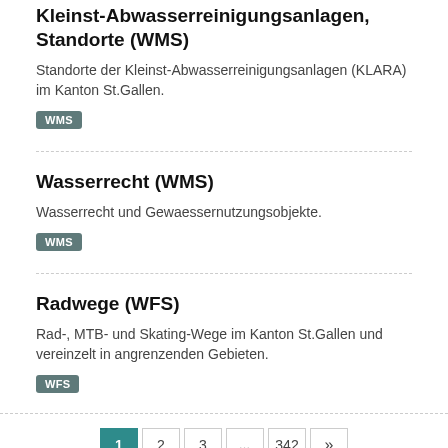Kleinst-Abwasserreinigungsanlagen, Standorte (WMS)
Standorte der Kleinst-Abwasserreinigungsanlagen (KLARA) im Kanton St.Gallen.
WMS
Wasserrecht (WMS)
Wasserrecht und Gewaessernutzungsobjekte.
WMS
Radwege (WFS)
Rad-, MTB- und Skating-Wege im Kanton St.Gallen und vereinzelt in angrenzenden Gebieten.
WFS
1 2 3 342 »